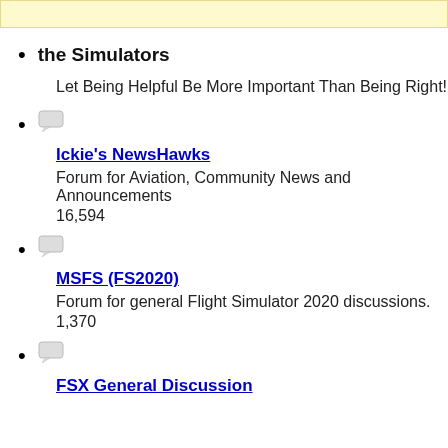the Simulators
Let Being Helpful Be More Important Than Being Right!
Ickie's NewsHawks
Forum for Aviation, Community News and Announcements
16,594
MSFS (FS2020)
Forum for general Flight Simulator 2020 discussions.
1,370
FSX General Discussion